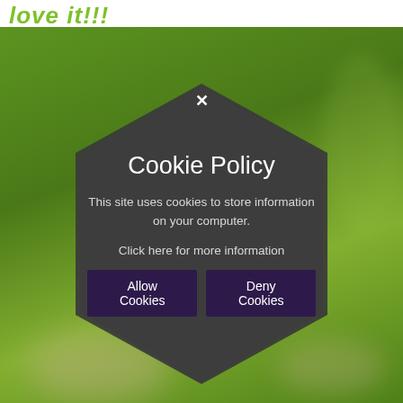love it!!!
[Figure (photo): Blurred outdoor photo showing green grass and a path/walkway in the background, serving as background for a cookie policy modal overlay.]
Cookie Policy
This site uses cookies to store information on your computer.
Click here for more information
Allow Cookies   Deny Cookies